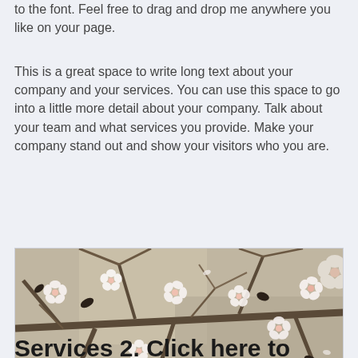to the font. Feel free to drag and drop me anywhere you like on your page.
This is a great space to write long text about your company and your services. You can use this space to go into a little more detail about your company. Talk about your team and what services you provide. Make your company stand out and show your visitors who you are.
[Figure (photo): Photo of cherry blossom branches with white flowers against a beige/tan background]
Services 2. Click here to